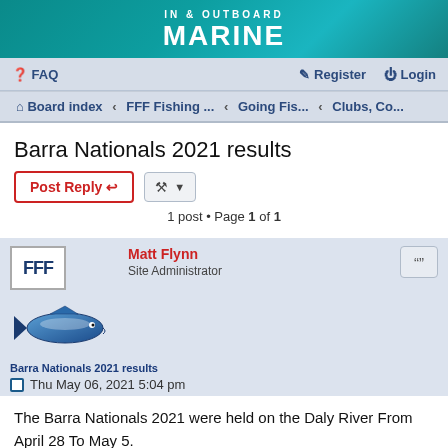[Figure (logo): In & Outboard Marine banner logo in teal/blue color]
FAQ   Register   Login
Board index › FFF Fishing ... ‹ Going Fis... ‹ Clubs, Co...
Barra Nationals 2021 results
1 post • Page 1 of 1
Matt Flynn
Site Administrator
Barra Nationals 2021 results
Thu May 06, 2021 5:04 pm
The Barra Nationals 2021 were held on the Daly River From April 28 To May 5.

58 teams caught 2134 fish.